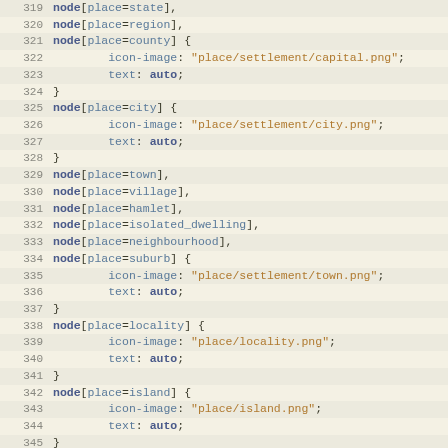Code listing lines 319-351, MapCSS/stylesheet code for node place rendering rules